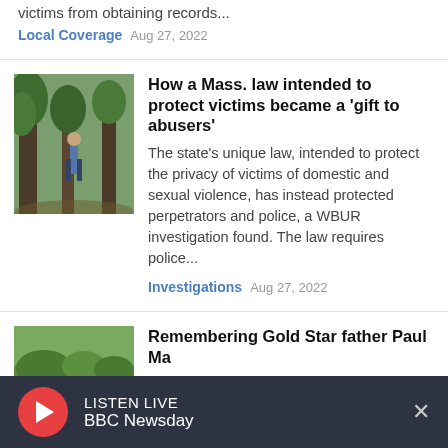victims from obtaining records...
Local Coverage  Aug 27, 2022
[Figure (photo): Person standing among trees in a wooded area]
How a Mass. law intended to protect victims became a 'gift to abusers'
The state's unique law, intended to protect the privacy of victims of domestic and sexual violence, has instead protected perpetrators and police, a WBUR investigation found. The law requires police...
Investigations  Aug 27, 2022
[Figure (photo): Outdoor landscape with trees and grass]
Remembering Gold Star father Paul Ma...
LISTEN LIVE
BBC Newsday